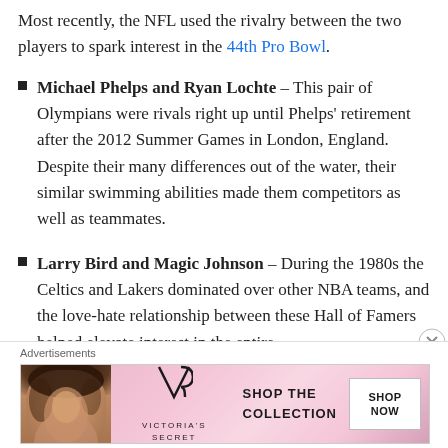Most recently, the NFL used the rivalry between the two players to spark interest in the 44th Pro Bowl.
Michael Phelps and Ryan Lochte – This pair of Olympians were rivals right up until Phelps' retirement after the 2012 Summer Games in London, England. Despite their many differences out of the water, their similar swimming abilities made them competitors as well as teammates.
Larry Bird and Magic Johnson – During the 1980s the Celtics and Lakers dominated over other NBA teams, and the love-hate relationship between these Hall of Famers helped elevate interest in the entire
Advertisements
[Figure (other): Victoria's Secret advertisement banner with woman model, VS logo, SHOP THE COLLECTION text, and SHOP NOW button]